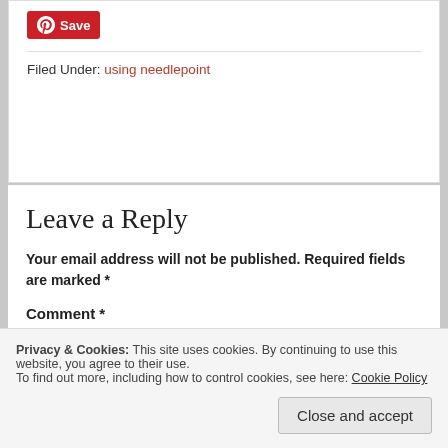[Figure (other): Pinterest Save button (red pill-shaped button with Pinterest logo and 'Save' text)]
Filed Under: using needlepoint
Leave a Reply
Your email address will not be published. Required fields are marked *
Comment *
Privacy & Cookies: This site uses cookies. By continuing to use this website, you agree to their use.
To find out more, including how to control cookies, see here: Cookie Policy
Close and accept